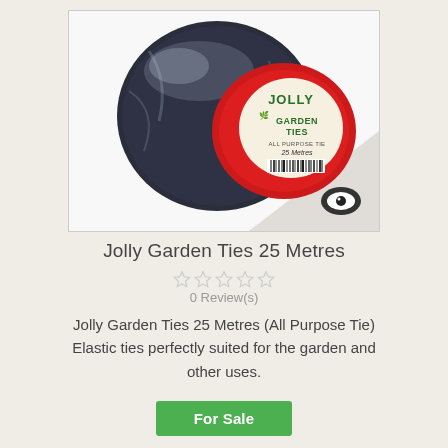[Figure (photo): A roll of Jolly Garden Ties 25 Metres (All Purpose Tie) wrapped in dark navy elastic material with a red circular label reading 'Jolly Garden Ties All Purpose Tie 25 Metres' with a barcode, placed on a white background with a small eye logo in the bottom right corner.]
Jolly Garden Ties 25 Metres
0 Review(s)
Jolly Garden Ties 25 Metres (All Purpose Tie) Elastic ties perfectly suited for the garden and other uses.
For Sale